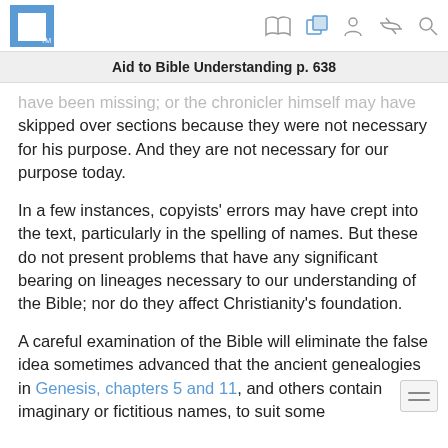Aid to Bible Understanding p. 638
have been missing; or the chronicler himself may have skipped over sections because they were not necessary for his purpose. And they are not necessary for our purpose today.
In a few instances, copyists' errors may have crept into the text, particularly in the spelling of names. But these do not present problems that have any significant bearing on lineages necessary to our understanding of the Bible; nor do they affect Christianity's foundation.
A careful examination of the Bible will eliminate the false idea sometimes advanced that the ancient genealogies in Genesis, chapters 5 and 11, and others contain imaginary or fictitious names, to suit some scheme of the chronologer. The ancient names